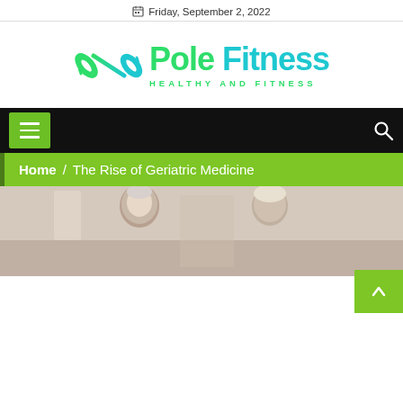Friday, September 2, 2022
[Figure (logo): Pole Fitness logo with dumbbell icon and text 'Pole Fitness HEALTHY AND FITNESS']
[Figure (screenshot): Black navigation bar with green hamburger menu button on left and search icon on right]
Home / The Rise of Geriatric Medicine
[Figure (photo): Two older adults (patients/elderly people) photographed indoors, article header image for 'The Rise of Geriatric Medicine']